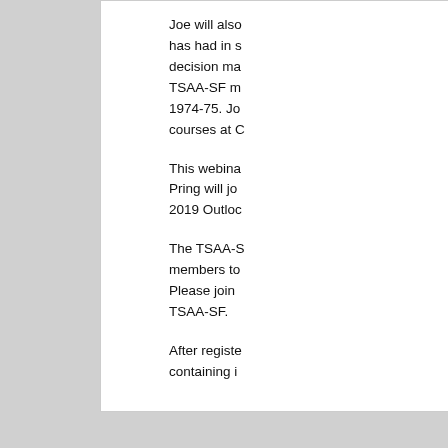Joe will also has had in s decision ma TSAA-SF m 1974-75. Jo courses at C
This webina Pring will jo 2019 Outloc
The TSAA-S members to Please join TSAA-SF.
After registe containing i